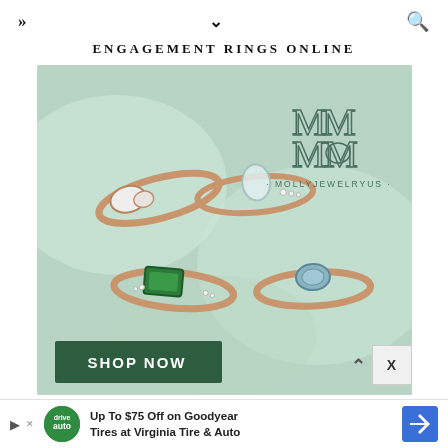» ∨ 🔍
ENGAGEMENT RINGS ONLINE
[Figure (photo): Advertisement photo for MollyJewelryus showing four rose gold engagement rings with colored gemstones on a mint green background. Rings feature opal, clear crystal, green emerald, and blue-green alexandrite stones. A logo with stylized M letters and the text MOLLYJEWELRYUS is displayed. A dark green SHOP NOW button appears at the bottom left.]
[Figure (infographic): Bottom advertisement banner: Up To $75 Off on Goodyear Tires at Virginia Tire & Auto, with green circular logo and blue navigation arrow icon.]